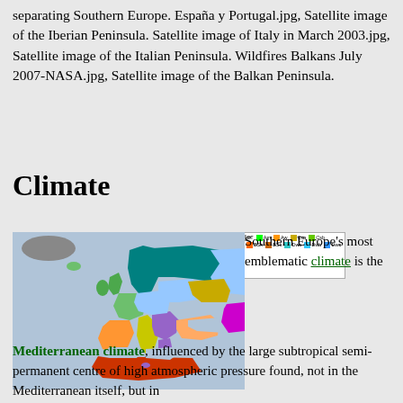separating Southern Europe. España y Portugal.jpg, Satellite image of the Iberian Peninsula. Satellite image of Italy in March 2003.jpg, Satellite image of the Italian Peninsula. Wildfires Balkans July 2007-NASA.jpg, Satellite image of the Balkan Peninsula.
Climate
[Figure (map): Köppen climate classification map of Europe showing various climate zones in different colors, with a legend at the top.]
Southern Europe's most emblematic climate is the Mediterranean climate, influenced by the large subtropical semi-permanent centre of high atmospheric pressure found, not in the Mediterranean itself, but in